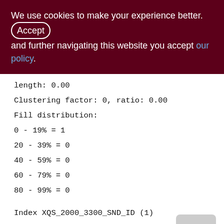We use cookies to make your experience better. By accepting and further navigating this website you accept our policy.
length: 0.00
Clustering factor: 0, ratio: 0.00
Fill distribution:
0 - 19% = 1
20 - 39% = 0
40 - 59% = 0
60 - 79% = 0
80 - 99% = 0
Index XQS_2000_3300_SND_ID (1)
Root page: 761, depth: 1, leaf buckets: 1,
nodes: 0